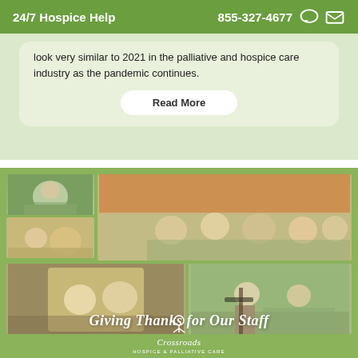24/7 Hospice Help   855-327-4677
look very similar to 2021 in the palliative and hospice care industry as the pandemic continues.
Read More
[Figure (photo): Collage of hospice staff photos including nurse with mask, group of staff in green scrubs, two smiling women, and an outdoor event scene. Overlay text reads 'Giving Thanks for Our Staff' with Crossroads Hospice & Palliative Care logo at the bottom.]